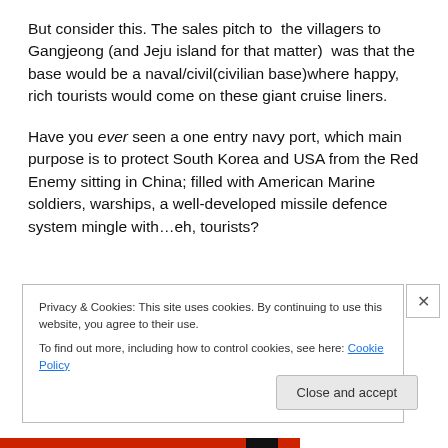But consider this. The sales pitch to the villagers to Gangjeong (and Jeju island for that matter) was that the base would be a naval/civil(civilian base)where happy, rich tourists would come on these giant cruise liners.
Have you ever seen a one entry navy port, which main purpose is to protect South Korea and USA from the Red Enemy sitting in China; filled with American Marine soldiers, warships, a well-developed missile defence system mingle with…eh, tourists?
Privacy & Cookies: This site uses cookies. By continuing to use this website, you agree to their use.
To find out more, including how to control cookies, see here: Cookie Policy